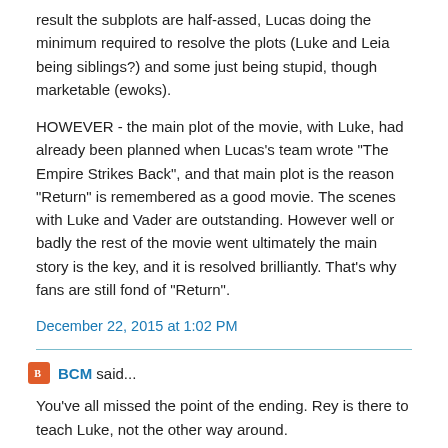result the subplots are half-assed, Lucas doing the minimum required to resolve the plots (Luke and Leia being siblings?) and some just being stupid, though marketable (ewoks).
HOWEVER - the main plot of the movie, with Luke, had already been planned when Lucas's team wrote "The Empire Strikes Back", and that main plot is the reason "Return" is remembered as a good movie. The scenes with Luke and Vader are outstanding. However well or badly the rest of the movie went ultimately the main story is the key, and it is resolved brilliantly. That's why fans are still fond of "Return".
December 22, 2015 at 1:02 PM
BCM said...
You've all missed the point of the ending. Rey is there to teach Luke, not the other way around.
December 22, 2015 at 1:08 PM